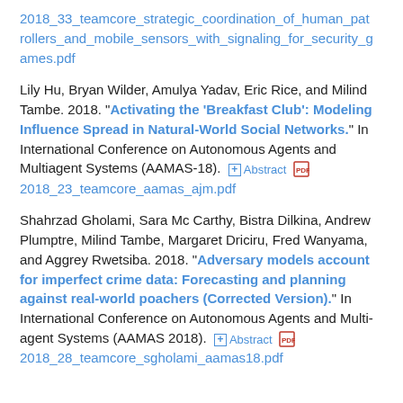2018_33_teamcore_strategic_coordination_of_human_patrollers_and_mobile_sensors_with_signaling_for_security_games.pdf
Lily Hu, Bryan Wilder, Amulya Yadav, Eric Rice, and Milind Tambe. 2018. "Activating the 'Breakfast Club': Modeling Influence Spread in Natural-World Social Networks." In International Conference on Autonomous Agents and Multiagent Systems (AAMAS-18). [Abstract] [PDF] 2018_23_teamcore_aamas_ajm.pdf
Shahrzad Gholami, Sara Mc Carthy, Bistra Dilkina, Andrew Plumptre, Milind Tambe, Margaret Driciru, Fred Wanyama, and Aggrey Rwetsiba. 2018. "Adversary models account for imperfect crime data: Forecasting and planning against real-world poachers (Corrected Version)." In International Conference on Autonomous Agents and Multi-agent Systems (AAMAS 2018). [Abstract] [PDF] 2018_28_teamcore_sgholami_aamas18.pdf